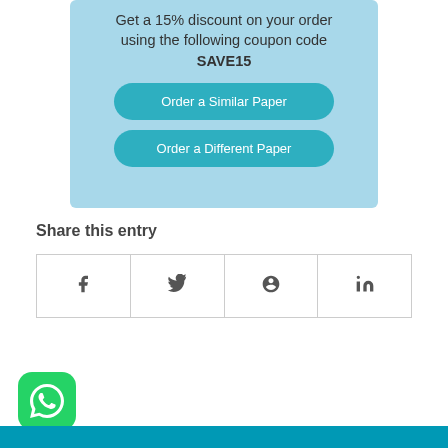Get a 15% discount on your order using the following coupon code SAVE15
Order a Similar Paper
Order a Different Paper
Share this entry
[Figure (other): Social share icons table with Facebook, Twitter, Pinterest, LinkedIn icons]
[Figure (logo): WhatsApp icon with green rounded square background]